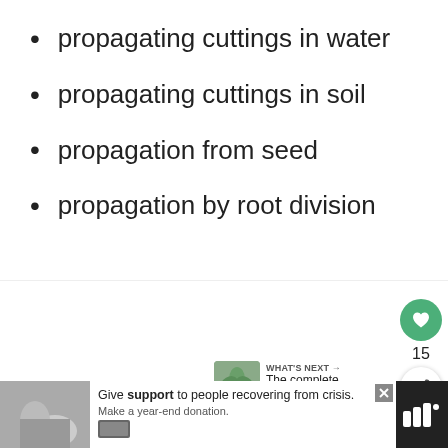propagating cuttings in water
propagating cuttings in soil
propagation from seed
propagation by root division
[Figure (screenshot): Website UI: like button (heart icon, green circle), like count 15, share button, What's Next panel showing The complete Staghorn Fe..., and an advertisement bar at the bottom with text 'Give support to people recovering from crisis. Make a year-end donation.']